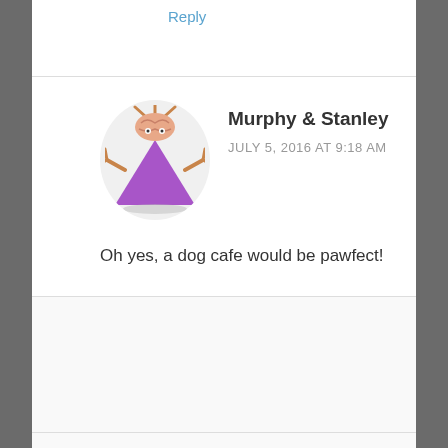Reply
Murphy & Stanley
JULY 5, 2016 AT 9:18 AM
[Figure (illustration): Cartoon avatar of a purple monster character with tentacles and a brain on top]
Oh yes, a dog cafe would be pawfect!
Your Pals,
Murphy & Stanley
Privacy & Cookies: This site uses cookies. By continuing to use this website, you agree to their use.
To find out more, including how to control cookies, see here: Cookie Policy
Close and accept
Kismet